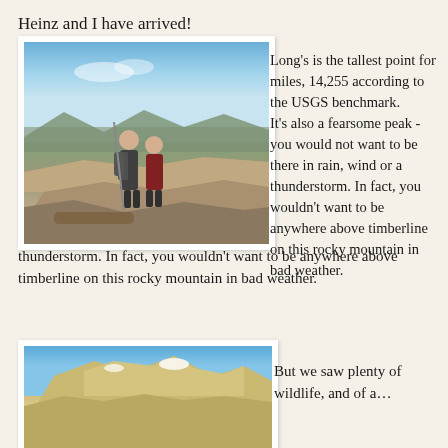Heinz and I have arrived!
[Figure (photo): Two hikers standing on a rocky mountain summit with expansive views behind them. Blue sky, distant mountains and plains visible. Rocky terrain in foreground.]
Long's is the tallest point for miles, 14,255 according to the USGS benchmark. It's also a fearsome peak - you would not want to be there in rain, wind or a thunderstorm. In fact, you wouldn't want to be anywhere above timberline on this rocky mountain in bad weather.
[Figure (photo): Rocky mountain peak with blue sky, snow patches visible on the rocky slopes.]
But we saw plenty of wildlife, and of a...